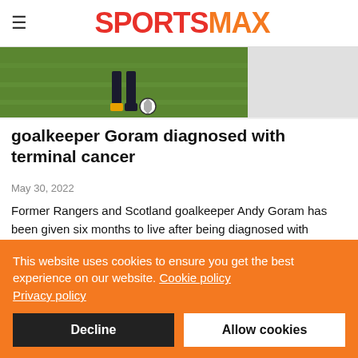SPORTSMAX
[Figure (photo): Partial image of a football/soccer player on a green grass pitch, showing legs and a ball]
goalkeeper Goram diagnosed with terminal cancer
May 30, 2022
Former Rangers and Scotland goalkeeper Andy Goram has been given six months to live after being diagnosed with terminal cancer.
This website uses cookies to ensure you get the best experience on our website. Cookie policy
Privacy policy